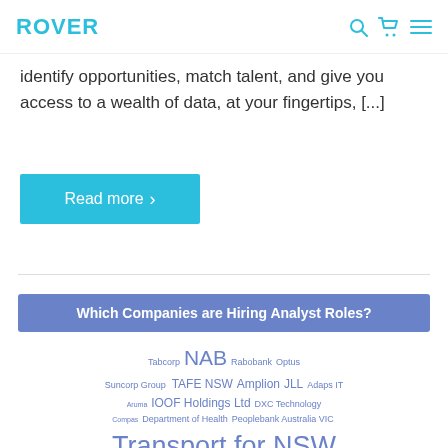ROVER
identify opportunities, match talent, and give you access to a wealth of data, at your fingertips, [...]
[Figure (other): Read more button — blue rectangle with white text 'Read more >']
Which Companies are Hiring Analyst Roles?
[Figure (infographic): Tag cloud of company names in varying sizes including NAB, Transport for NSW, ANZ Banking, Westpac, Commonwealth Bank, Citi, PwC, JP Morgan, TABCORP, Qantas Airways, Corporate Services, Cognizant, Coles, CrowdStrike, Department of Health, Compas, Aruma, IOOF Holdings Ltd, DXC Technology, Peoplebank Australia VIC, Suncorp Group, Rabobank, Optus, Tabcorp, TAFE NSW, Amplion, JLL, Adaps IT, AustralianSuper]